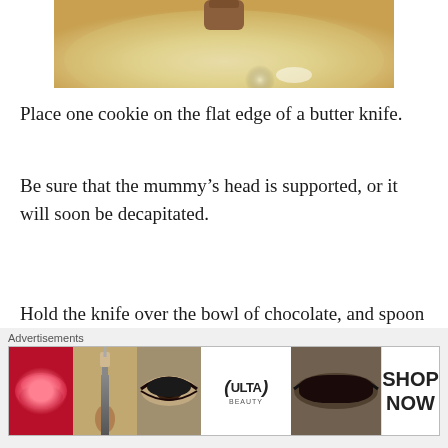[Figure (photo): Photo of a bowl of pale yellow/cream colored chocolate coating mixture with a cookie being dipped, viewed from above]
Place one cookie on the flat edge of a butter knife.
Be sure that the mummy's head is supported, or it will soon be decapitated.
Hold the knife over the bowl of chocolate, and spoon the coating over the cookie. It should be quite runny (add additional shortening if necessary).
[Figure (photo): Ulta Beauty advertisement banner showing makeup images: lips with lipstick, makeup brush, eye with makeup, Ulta Beauty logo, eyes with dramatic makeup, and Shop Now button]